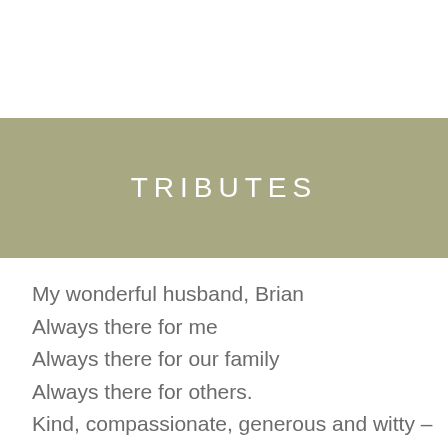TRIBUTES
My wonderful husband, Brian
Always there for me
Always there for our family
Always there for others.
Kind, compassionate, generous and witty – loved by all who knew him.
Brian, you will always be here in my heart;
I will remember the wonderful life we have had